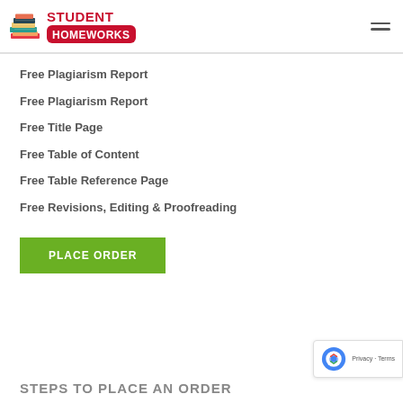Student Homeworks
Free Plagiarism Report
Free Plagiarism Report
Free Title Page
Free Table of Content
Free Table Reference Page
Free Revisions, Editing & Proofreading
PLACE ORDER
STEPS TO PLACE AN ORDER